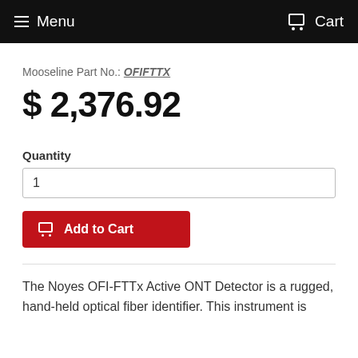Menu  Cart
Mooseline Part No.: OFIFTTX
$ 2,376.92
Quantity
1
Add to Cart
The Noyes OFI-FTTx Active ONT Detector is a rugged, hand-held optical fiber identifier. This instrument is